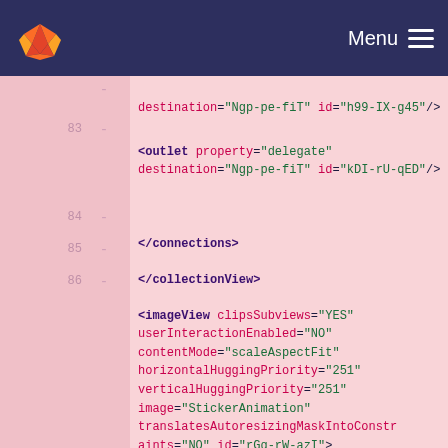GitLab — Menu
[Figure (screenshot): Code viewer showing XML storyboard content, lines 83-87, with syntax highlighting. Dark navy header with GitLab fox logo and Menu hamburger. Pink background code area with line numbers. Line 83: outlet element with property=delegate, destination=Ngp-pe-fiT, id=kDI-rU-qED. Line 84: closing connections tag. Line 85: closing collectionView tag. Line 86: imageView element with clipsSubviews=YES, userInteractionEnabled=NO, contentMode=scaleAspectFit, horizontalHuggingPriority=251, verticalHuggingPriority=251, image=StickerAnimation, translatesAutoresizingMaskIntoConstraints=NO, id=rGq-rW-azI. Line 87: rect key=frame beginning.]